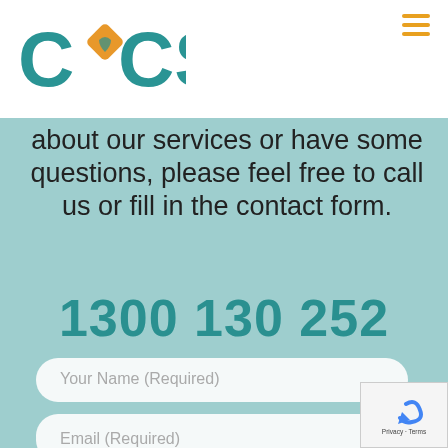[Figure (logo): CDCS logo with teal C, orange diamond heart shape, and teal CS letters]
about our services or have some questions, please feel free to call us or fill in the contact form.
1300 130 252
Your Name (Required)
Phone / Mobile
Email (Required)